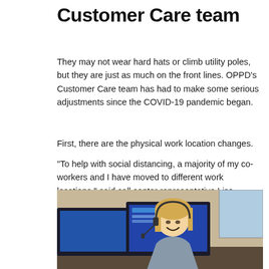Customer Care team
They may not wear hard hats or climb utility poles, but they are just as much on the front lines. OPPD's Customer Care team has had to make some serious adjustments since the COVID-19 pandemic began.
First, there are the physical work location changes.
“To help with social distancing, a majority of my co-workers and I have moved to different work locations,” said call center representative Lisa Donham.
[Figure (photo): A smiling female call center representative with a headset sitting at a desk with multiple computer monitors displaying work applications. The setting appears to be an office or call center environment.]